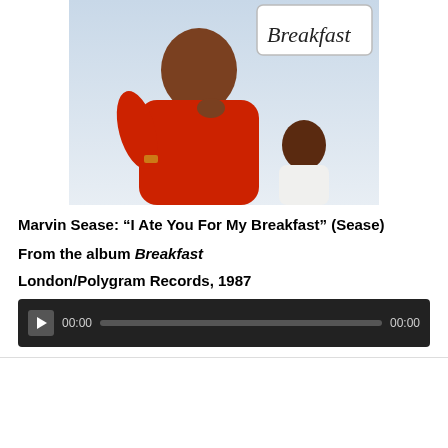[Figure (photo): Album cover for 'Breakfast' by Marvin Sease. A man in a red top is in the foreground, a woman in white is in the background. The word 'Breakfast' appears in cursive script in the top right corner.]
Marvin Sease: “I Ate You For My Breakfast” (Sease)
From the album Breakfast
London/Polygram Records, 1987
[Figure (screenshot): Audio player widget with play button, time display 00:00, progress bar, and end time 00:00 on dark background.]